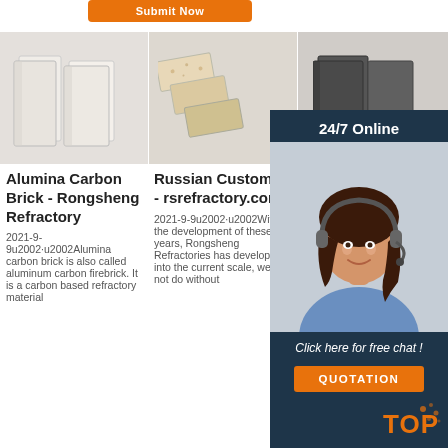[Figure (screenshot): Orange Submit Now button at top of page]
[Figure (photo): Two white alumina carbon firebricks standing upright]
[Figure (photo): Three beige/speckled refractory bricks arranged diagonally]
[Figure (photo): Dark grey refractory bricks, partial view]
Alumina Carbon Brick - Rongsheng Refractory
Russian Customers - rsrefractory.com
Refra... produ... manu... by ROS...
2021-9-9u2002·u2002Alumina carbon brick is also called aluminum carbon firebrick. It is a carbon based refractory material
2021-9-9u2002·u2002With the development of these years, Rongsheng Refractories has developed into the current scale, we can not do without
The Ru... Company 'Rosogneupor Ltd' ('Rusrefractories Ltd') was established in 2000 on basis of
[Figure (screenshot): 24/7 Online chat widget with woman wearing headset, Click here for free chat!, and QUOTATION button]